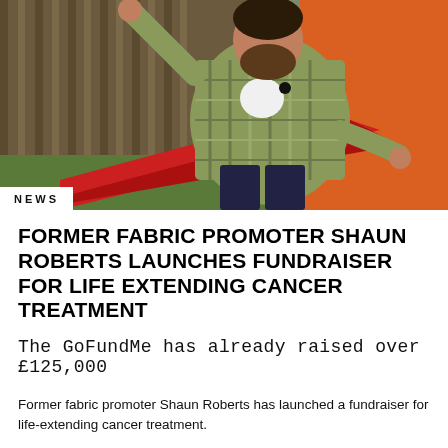[Figure (photo): A man in a plaid jacket sitting in a red hammock outdoors, with a wooden fence and grass in the background, raising one hand.]
NEWS
FORMER FABRIC PROMOTER SHAUN ROBERTS LAUNCHES FUNDRAISER FOR LIFE EXTENDING CANCER TREATMENT
The GoFundMe has already raised over £125,000
Former fabric promoter Shaun Roberts has launched a fundraiser for life-extending cancer treatment.
Roberts, who worked at the London club as promotions manager for 16...